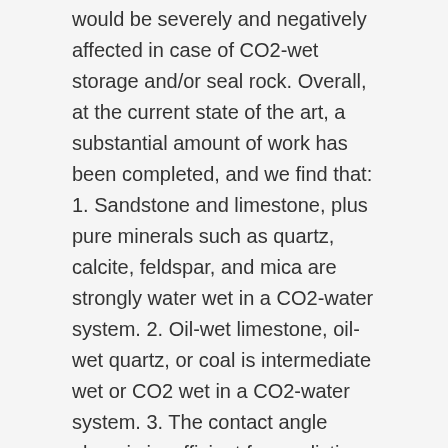would be severely and negatively affected in case of CO2-wet storage and/or seal rock. Overall, at the current state of the art, a substantial amount of work has been completed, and we find that: 1. Sandstone and limestone, plus pure minerals such as quartz, calcite, feldspar, and mica are strongly water wet in a CO2-water system. 2. Oil-wet limestone, oil-wet quartz, or coal is intermediate wet or CO2 wet in a CO2-water system. 3. The contact angle alone is insufficient for predicting capillary pressures in reservoir or seal rocks. 4. The current contact angle data have a large uncertainty. 5. Solid theoretical understanding on a molecular level of rock-CO2-brine interactions is currently limited. 6. In an ideal scenario, all seal and storage rocks in CGS formations are tested for their CO2 wettability. 7. Achieving representative subsurface conditions (especially in terms of the rock surface) in the laboratory is of key importance, but there are challenges.